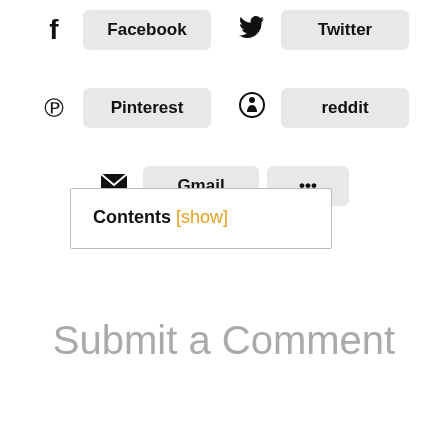[Figure (infographic): Social sharing buttons row 1: Facebook icon and button, Twitter icon and button]
[Figure (infographic): Social sharing buttons row 2: Pinterest icon and button, reddit icon and button]
[Figure (infographic): Social sharing buttons row 3: Gmail icon and button, more (ellipsis) button]
Contents [show]
Submit a Comment